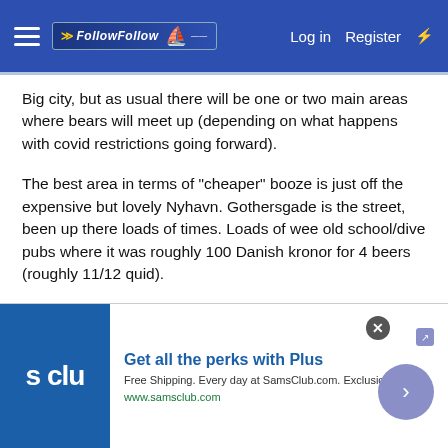FollowFollow — Log in  Register
Big city, but as usual there will be one or two main areas where bears will meet up (depending on what happens with covid restrictions going forward).
The best area in terms of "cheaper" booze is just off the expensive but lovely Nyhavn. Gothersgade is the street, been up there loads of times. Loads of wee old school/dive pubs where it was roughly 100 Danish kronor for 4 beers (roughly 11/12 quid).
Me and a few mates are going so can message you on here nearer the time if you need help. But booking a hotel in the centre of the city means that you will always be pretty close to everything.
[Figure (screenshot): Advertisement banner for SamsClub.com Plus membership. Blue square logo with 's clu' text on left, ad copy 'Get all the perks with Plus' in blue bold, 'Free Shipping. Every day at SamsClub.com. Exclusions apply.' in grey, 'www.samsclub.com' in green, close button and arrow button on right.]